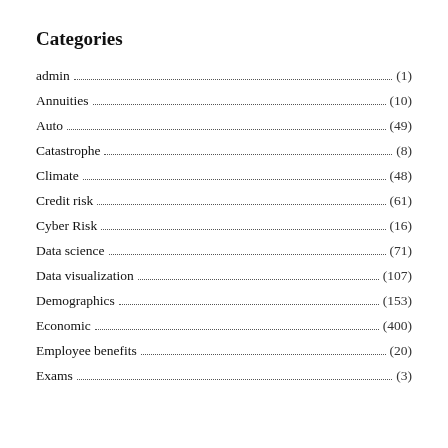Categories
admin (1)
Annuities (10)
Auto (49)
Catastrophe (8)
Climate (48)
Credit risk (61)
Cyber Risk (16)
Data science (71)
Data visualization (107)
Demographics (153)
Economic (400)
Employee benefits (20)
Exams (3)